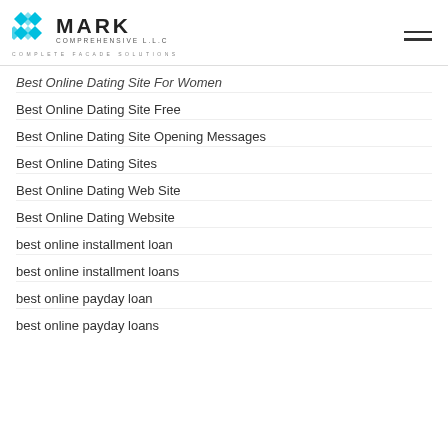MARK COMPREHENSIVE L.L.C — COMPLETE FACADE SOLUTIONS
Best Online Dating Site For Women
Best Online Dating Site Free
Best Online Dating Site Opening Messages
Best Online Dating Sites
Best Online Dating Web Site
Best Online Dating Website
best online installment loan
best online installment loans
best online payday loan
best online payday loans